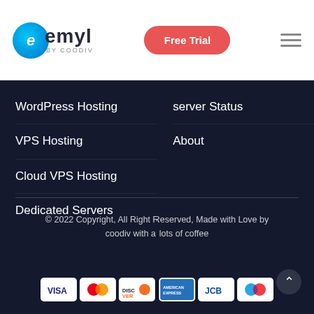[Figure (logo): emyl by coodiv logo with blue circle and text]
Free Trial
WordPress Hosting
VPS Hosting
Cloud VPS Hosting
Dedicated Servers
server Status
About
© 2022 Copyright, All Right Reserved, Made with Love by coodiv with a lots of coffee
[Figure (other): Payment method icons: VISA, MasterCard, Discover, American Express, JCB, Maestro]